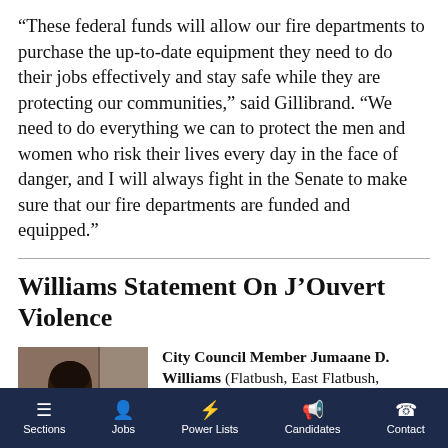“These federal funds will allow our fire departments to purchase the up-to-date equipment they need to do their jobs effectively and stay safe while they are protecting our communities,” said Gillibrand. “We need to do everything we can to protect the men and women who risk their lives every day in the face of danger, and I will always fight in the Senate to make sure that our fire departments are funded and equipped.”
Williams Statement On J’Ouvert Violence
[Figure (photo): Partial photo of a person, cropped, showing head and shoulders from behind/side angle]
City Council Member Jumaane D. Williams (Flatbush, East Flatbush,
Sections   Jobs   Power Lists   Candidates   Contact